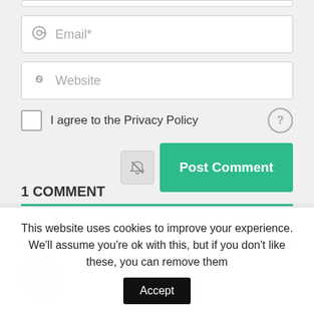[Figure (screenshot): Email input field with @ icon and placeholder text 'Email*']
[Figure (screenshot): Website input field with link icon and placeholder text 'Website']
I agree to the Privacy Policy
[Figure (screenshot): Post Comment button row with notification bell icon and green Post Comment button]
1 COMMENT
[Figure (screenshot): Comment sorting row with lightning bolt icon, flame icon, and 'oldest' dropdown]
[Figure (screenshot): User avatar circle at bottom of comment section]
This website uses cookies to improve your experience. We'll assume you're ok with this, but if you don't like these, you can remove them
[Figure (screenshot): Accept button for cookie consent]